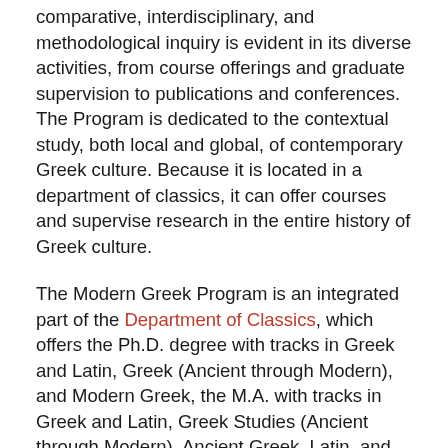comparative, interdisciplinary, and methodological inquiry is evident in its diverse activities, from course offerings and graduate supervision to publications and conferences. The Program is dedicated to the contextual study, both local and global, of contemporary Greek culture. Because it is located in a department of classics, it can offer courses and supervise research in the entire history of Greek culture.
The Modern Greek Program is an integrated part of the Department of Classics, which offers the Ph.D. degree with tracks in Greek and Latin, Greek (Ancient through Modern), and Modern Greek, the M.A. with tracks in Greek and Latin, Greek Studies (Ancient through Modern), Ancient Greek, Latin, and Modern Greek, and a variety of undergraduate majors and minors. The Department of Classics (in cooperation with the College of Education) offers a Master's Degree with certification in secondary school teaching (Latin). A doctoral program in ancient philosophy is administered jointly by the departments of Philosophy and Classics. The Department also has strong teaching and